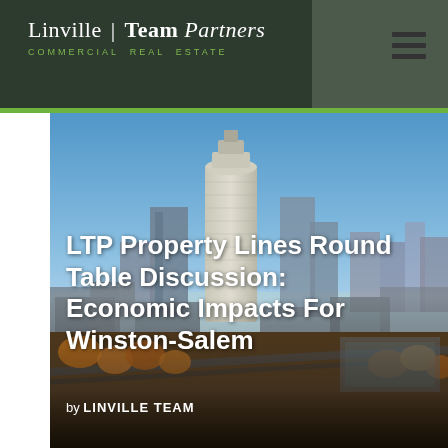Linville | Team Partners — COMMERCIAL REAL ESTATE
[Figure (photo): Aerial cityscape photograph of Winston-Salem, NC downtown skyline with prominent cylindrical skyscraper, surrounding buildings, parking lots, and autumn trees under a blue sky]
LTP Property Lines Round Table Discussion: Economic Impacts For Winston-Salem
by LINVILLE TEAM